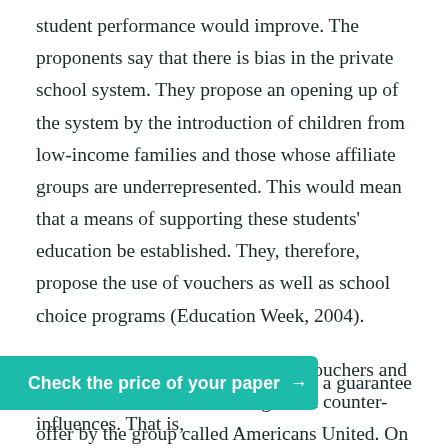student performance would improve. The proponents say that there is bias in the private school system. They propose an opening up of the system by the introduction of children from low-income families and those whose affiliate groups are underrepresented. This would mean that a means of supporting these students' education be established. They, therefore, propose the use of vouchers as well as school choice programs (Education Week, 2004).
The proposal regarding the use of vouchers and increased school choice was given a counter-offer by the group called Americans United. On their website, they gave several reasons why people ought not to support this emerging trend. Among the reasons was
[Figure (other): Teal/green call-to-action button bar reading 'Check the price of your paper →']
gave a guarantee influences. That is,